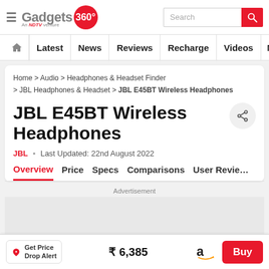[Figure (logo): Gadgets 360 logo with red circle, NDTV venture tagline, search bar with red search button]
Latest  News  Reviews  Recharge  Videos  M
Home > Audio > Headphones & Headset Finder > JBL Headphones & Headset > JBL E45BT Wireless Headphones
JBL E45BT Wireless Headphones
JBL  •  Last Updated: 22nd August 2022
Overview  Price  Specs  Comparisons  User Review
Advertisement
Get Price Drop Alert  ₹ 6,385  Buy